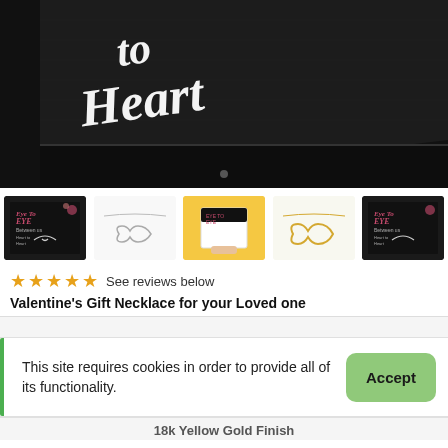[Figure (photo): Close-up photo of a black jewelry gift box with white cursive script text reading 'to Heart' on the lid, viewed at an angle]
[Figure (photo): Row of 5 product thumbnail images: black gift box with infinity necklace, silver infinity heart necklace, hand holding white box with necklace, gold infinity heart necklace, black gift box with necklace]
★★★★★ See reviews below
Valentine's Gift Necklace for your Loved one
This site requires cookies in order to provide all of its functionality.
Accept
18k Yellow Gold Finish